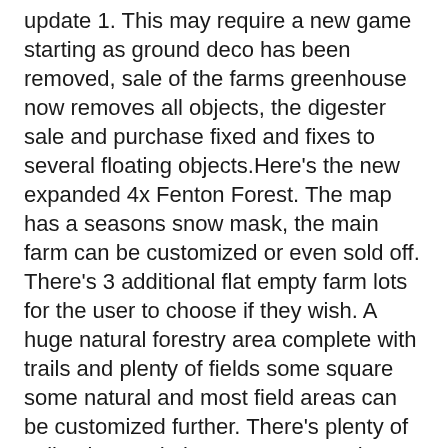update 1. This may require a new game starting as ground deco has been removed, sale of the farms greenhouse now removes all objects, the digester sale and purchase fixed and fixes to several floating objects.Here's the new expanded 4x Fenton Forest. The map has a seasons snow mask, the main farm can be customized or even sold off. There's 3 additional flat empty farm lots for the user to choose if they wish. A huge natural forestry area complete with trails and plenty of fields some square some natural and most field areas can be customized further. There's plenty of sell points and also 2 remote supply points one at Fenton Mill and the other at Riverside Mill. The map comes with all of its own placeables which can be found in the store. No productions are installed and I have stuck with the fruits Giants chose so no multifruit either. The map was designed to run on high end PC's and so for it to look and play as it was intended you will need a minimum of a Nvidia 980ti graphics card with LOD set to 200% in the advanced game graphics settings.. The map will play on lower spec systems but may not look or play the same. Use the place anywhere mod or Global scripts extended